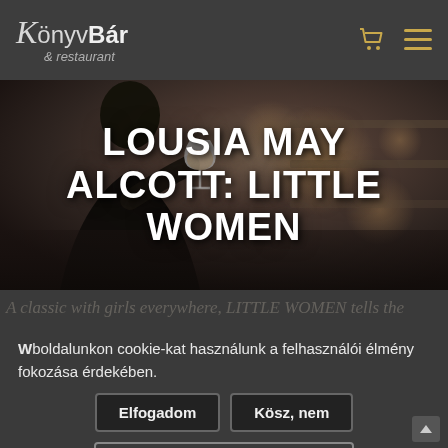KönyvBár & restaurant
[Figure (photo): Dark restaurant/bar scene with silhouette of person holding a wine glass, blurred bokeh background with warm tones]
LOUSIA MAY ALCOTT: LITTLE WOMEN
A classic with girls everywhere, LITTLE WOMEN tells the
Wboldalunkon cookie-kat használunk a felhasználói élmény fokozása érdekében.
Elfogadom
Kösz, nem
Adatvédelmi tájékoztatónk